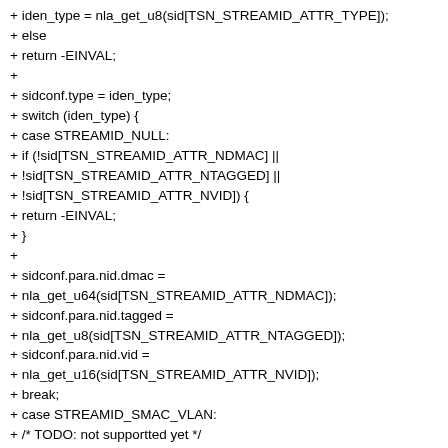+ iden_type = nla_get_u8(sid[TSN_STREAMID_ATTR_TYPE]);
+ else
+ return -EINVAL;
+
+ sidconf.type = iden_type;
+ switch (iden_type) {
+ case STREAMID_NULL:
+ if (!sid[TSN_STREAMID_ATTR_NDMAC] ||
+ !sid[TSN_STREAMID_ATTR_NTAGGED] ||
+ !sid[TSN_STREAMID_ATTR_NVID]) {
+ return -EINVAL;
+ }
+
+ sidconf.para.nid.dmac =
+ nla_get_u64(sid[TSN_STREAMID_ATTR_NDMAC]);
+ sidconf.para.nid.tagged =
+ nla_get_u8(sid[TSN_STREAMID_ATTR_NTAGGED]);
+ sidconf.para.nid.vid =
+ nla_get_u16(sid[TSN_STREAMID_ATTR_NVID]);
+ break;
+ case STREAMID_SMAC_VLAN:
+ /* TODO: not supportted yet */
+ if (!sid[TSN_STREAMID_ATTR_SMAC] ||
+ !sid[TSN_STREAMID_ATTR_STAGGED] ||
+ + !sid[TSN_STREAMID_ATTR_SVID]) {